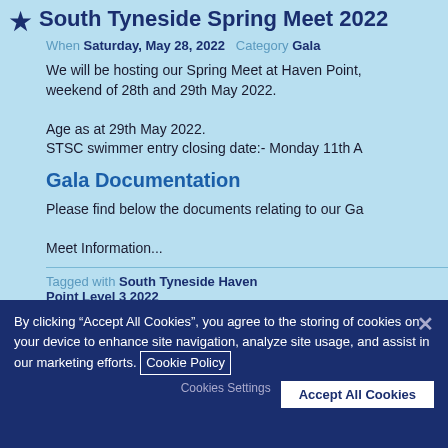South Tyneside Spring Meet 2022
When Saturday, May 28, 2022  Category Gala
We will be hosting our Spring Meet at Haven Point, weekend of 28th and 29th May 2022.
Age as at 29th May 2022.
STSC swimmer entry closing date:- Monday 11th A
Gala Documentation
Please find below the documents relating to our Ga
Meet Information...
Tagged with South Tyneside Haven Point Level 3 2022
Tynemouth ASC Spring Gala 2022
When Friday, March 25, 2022  Category Gala
By clicking "Accept All Cookies", you agree to the storing of cookies on your device to enhance site navigation, analyze site usage, and assist in our marketing efforts. Cookie Policy
Cookies Settings  Accept All Cookies